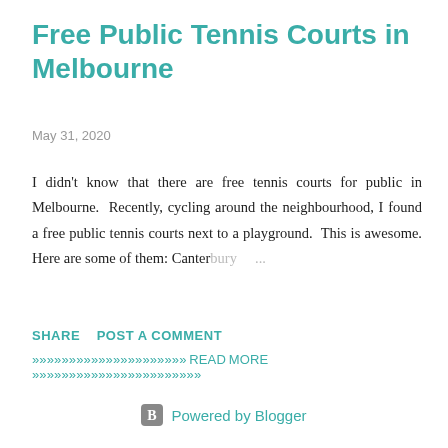Free Public Tennis Courts in Melbourne
May 31, 2020
I didn't know that there are free tennis courts for public in Melbourne.  Recently, cycling around the neighbourhood, I found a free public tennis courts next to a playground.  This is awesome. Here are some of them: Canterbury …
SHARE    POST A COMMENT
»»»»»»»»»»»»»»»»»»»»» READ MORE »»»»»»»»»»»»»»»»»»»»»»»
Powered by Blogger